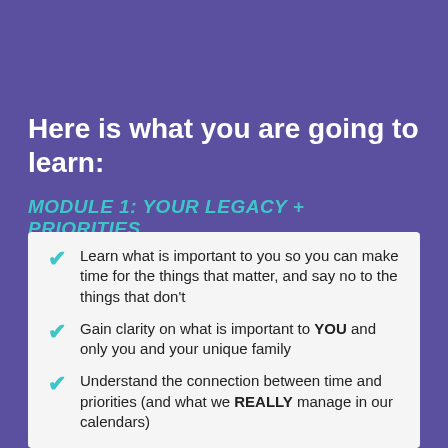Here is what you are going to learn:
MODULE 1: YOUR LEGACY + PRIORITIES
Learn what is important to you so you can make time for the things that matter, and say no to the things that don't
Gain clarity on what is important to YOU and only you and your unique family
Understand the connection between time and priorities (and what we REALLY manage in our calendars)